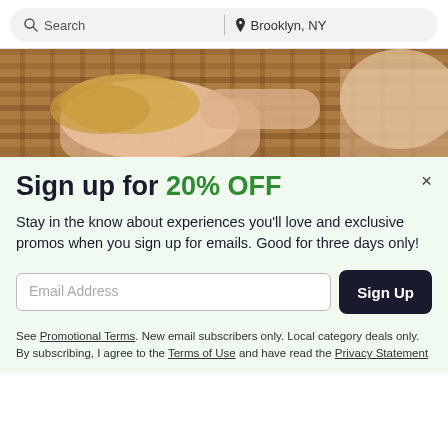Search | Brooklyn, NY
[Figure (photo): Person with blonde hair resting against a woven wicker/bamboo surface, warm tones]
Sign up for 20% OFF
Stay in the know about experiences you'll love and exclusive promos when you sign up for emails. Good for three days only!
Email Address [input field] Sign Up [button]
See Promotional Terms. New email subscribers only. Local category deals only. By subscribing, I agree to the Terms of Use and have read the Privacy Statement